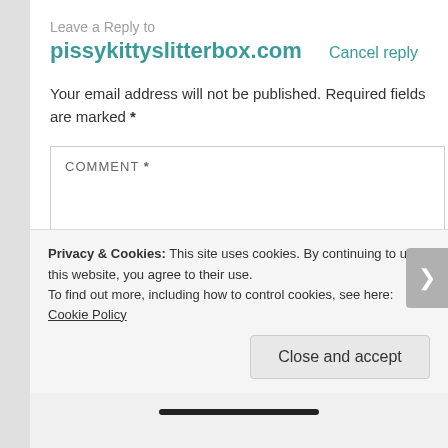Leave a Reply to pissykittyslitterbox.com
Cancel reply
Your email address will not be published. Required fields are marked *
COMMENT *
Privacy & Cookies: This site uses cookies. By continuing to use this website, you agree to their use. To find out more, including how to control cookies, see here: Cookie Policy
Close and accept